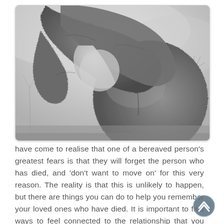[Figure (photo): Black and white photograph of a stone sculpture showing a figure with head bowed, hands clasped over head in a grief or contemplation pose, with bare trees and cloudy sky in background.]
have come to realise that one of a bereaved person's greatest fears is that they will forget the person who has died, and 'don't want to move on' for this very reason. The reality is that this is unlikely to happen, but there are things you can do to help you remember your loved ones who have died. It is important to find ways to feel connected to the relationship that you had with your loved one and to all of the good things that were created from it.